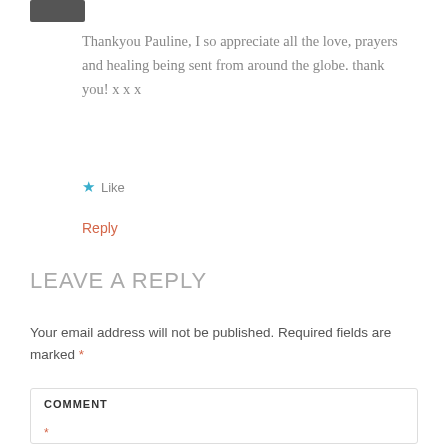[Figure (photo): Small cropped avatar/profile photo stub at top]
Thankyou Pauline, I so appreciate all the love, prayers and healing being sent from around the globe. thank you! x x x
★ Like
Reply
LEAVE A REPLY
Your email address will not be published. Required fields are marked *
COMMENT *